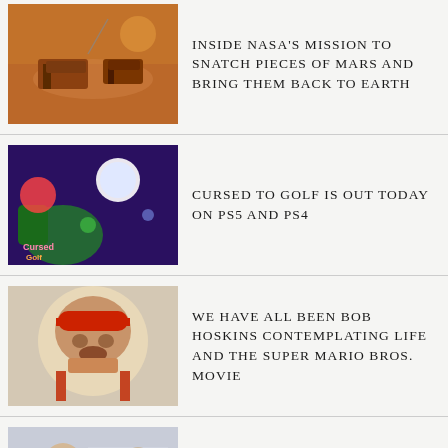INSIDE NASA'S MISSION TO SNATCH PIECES OF MARS AND BRING THEM BACK TO EARTH
CURSED TO GOLF IS OUT TODAY ON PS5 AND PS4
WE HAVE ALL BEEN BOB HOSKINS CONTEMPLATING LIFE AND THE SUPER MARIO BROS. MOVIE
NBC NEWS' RICHARD ENGEL SHARES THAT BELOVED SON, 6, HAS DIED AFTER INCURABLE BRAIN DISORDER
DRONE FOOTAGE SHOWS THE HORRIFYING MOMENT MAN IS ATTACKED BY AN ALLIGATOR IN